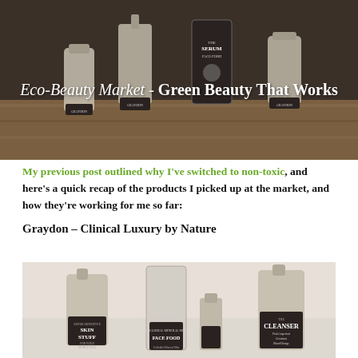[Figure (photo): Top banner photo showing Graydon skincare products (serums, face food) on a wooden surface with text overlay]
Eco-Beauty Market - Green Beauty That Works
My previous post outlined why I've switched to non-toxic, and here's a quick recap of the products I picked up at the market, and how they're working for me so far:
Graydon – Clinical Luxury by Nature
[Figure (photo): Photo of Graydon skincare product lineup including Super Sensitive Skin Stuff, Face Food Colloidal Mineral Mist, The Cleanser Pink Grapefruit Geranium Blood Orange]